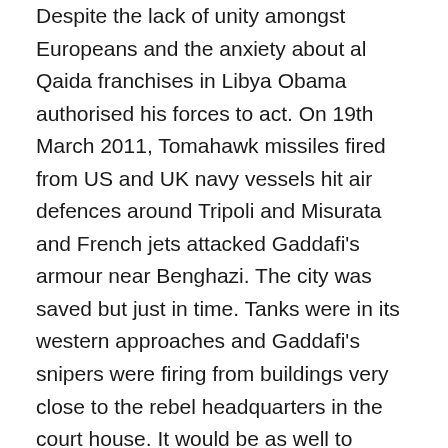Despite the lack of unity amongst Europeans and the anxiety about al Qaida franchises in Libya Obama authorised his forces to act. On 19th March 2011, Tomahawk missiles fired from US and UK navy vessels hit air defences around Tripoli and Misurata and French jets attacked Gaddafi's armour near Benghazi. The city was saved but just in time. Tanks were in its western approaches and Gaddafi's snipers were firing from buildings very close to the rebel headquarters in the court house. It would be as well to remember that President Obama, for a number of reasons no doubt, offered crucial but limited assistance and required NATO to assume command of the No Fly Zone.'
So Janet Daley is nearly right but her neat change of emphasis makes Obama sound weak. She states that Obama offered belated back-up. I argue that he offered timely back-up but he had good reason to be cautious. An